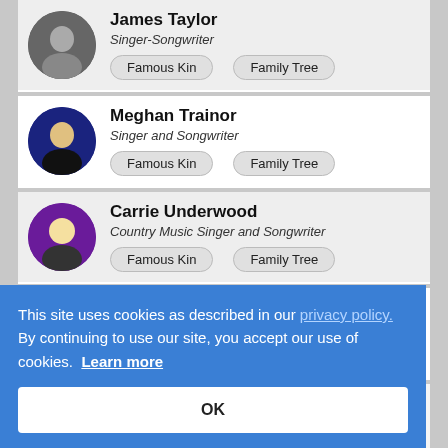James Taylor - Singer-Songwriter
Meghan Trainor - Singer and Songwriter
Carrie Underwood - Country Music Singer and Songwriter
Donnie Wahlberg - Singer - New Kids on the Block
Dionne Warwick - Singer and Actress
This site uses cookies as described in our privacy policy. By continuing to use our site, you accept our use of cookies. Learn more
OK